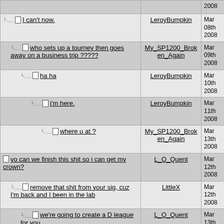| Topic | Author | Date | # |
| --- | --- | --- | --- |
| (cut off top) |  | 2008 |  |
| I can't now. | LeroyBumpkin | Mar 08th 2008 | 94 |
| who sets up a tourney then goes away on a business trip ????? | My_SP1200_Broken_Again | Mar 09th 2008 | 97 |
| ha ha | LeroyBumpkin | Mar 10th 2008 | 98 |
| i'm here. | LeroyBumpkin | Mar 11th 2008 | 99 |
| where u at ? | My_SP1200_Broken_Again | Mar 13th 2008 | 114 |
| yo can we finish this shit so i can get my crown? | L_O_Quent | Mar 12th 2008 | 10 |
| remove that shit from your sig, cuz I'm back and I been in the lab | LittleX | Mar 12th 2008 | 10 |
| we're going to create a D league for you | L_O_Quent | Mar 13th 2008 | 104 |
| LMFAO! | Lach | Mar 13th 2008 | 10 |
| SP1200...one more game man. | LeroyBumpkin | Mar 13th | 103 |